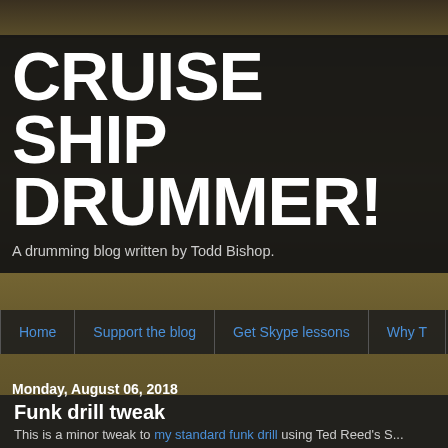[Figure (screenshot): Blog website screenshot of Cruise Ship Drummer blog showing header, navigation, and article]
CRUISE SHIP DRUMMER!
A drumming blog written by Todd Bishop.
Home | Support the blog | Get Skype lessons | Why T...
Monday, August 06, 2018
Funk drill tweak
This is a minor tweak to my standard funk drill using Ted Reed's S... played by mistake by one of my students (6th grader), but it soun...